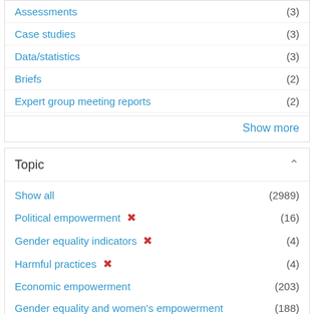Assessments (3)
Case studies (3)
Data/statistics (3)
Briefs (2)
Expert group meeting reports (2)
Show more
Topic
Show all (2989)
Political empowerment ✗ (16)
Gender equality indicators ✗ (4)
Harmful practices ✗ (4)
Economic empowerment (203)
Gender equality and women's empowerment (188)
Ending violence against women and girls (146)
2030 Agenda for Sustainable Development (121)